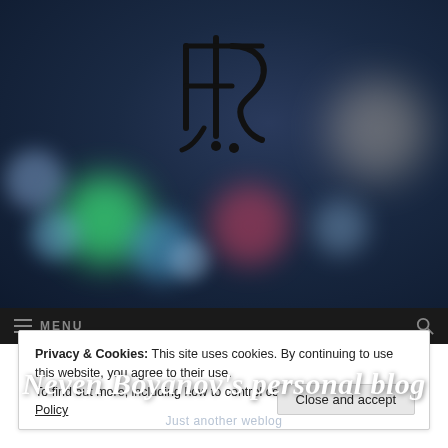[Figure (illustration): Blog header hero image with dark bokeh background and decorative monogram logo (stylized HB or similar calligraphic mark in black) centered at top, with colorful bokeh light circles (green, blue, red, white) scattered across the image]
Neven Boyanov's personal blog
Just another weblog
Privacy & Cookies: This site uses cookies. By continuing to use this website, you agree to their use.
To find out more, including how to control cookies, see here: Cookie Policy
Close and accept